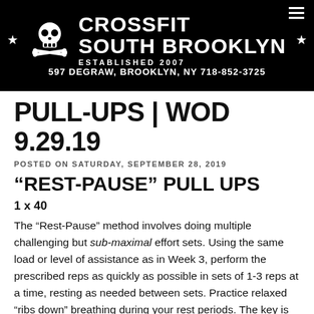[Figure (logo): CrossFit South Brooklyn logo with skull and crossbones, stars, established 2007, address 597 Degraw, Brooklyn, NY 718-852-3725 on black background]
PULL-UPS | WOD 9.29.19
POSTED ON SATURDAY, SEPTEMBER 28, 2019
“REST-PAUSE” PULL UPS
1 x 40
The “Rest-Pause” method involves doing multiple challenging but sub-maximal effort sets. Using the same load or level of assistance as in Week 3, perform the prescribed reps as quickly as possible in sets of 1-3 reps at a time, resting as needed between sets. Practice relaxed “ribs down” breathing during your rest periods. The key is